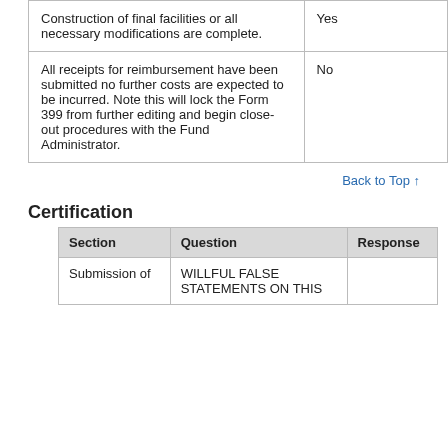|  |  |
| --- | --- |
| Construction of final facilities or all necessary modifications are complete. | Yes |
| All receipts for reimbursement have been submitted no further costs are expected to be incurred. Note this will lock the Form 399 from further editing and begin close-out procedures with the Fund Administrator. | No |
Back to Top ↑
Certification
| Section | Question | Response |
| --- | --- | --- |
| Submission of | WILLFUL FALSE STATEMENTS ON THIS |  |